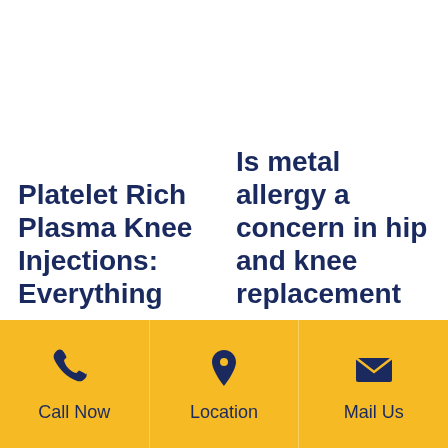Platelet Rich Plasma Knee Injections: Everything
Is metal allergy a concern in hip and knee replacement
Call Now
Location
Mail Us